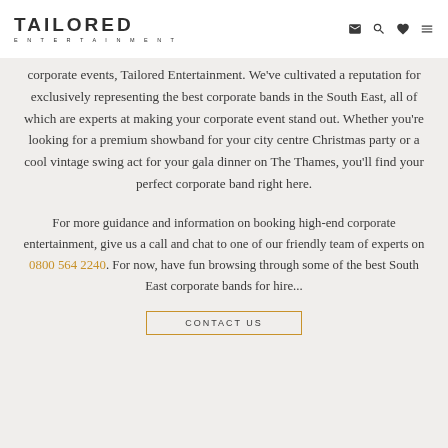TAILORED ENTERTAINMENT
corporate events, Tailored Entertainment. We've cultivated a reputation for exclusively representing the best corporate bands in the South East, all of which are experts at making your corporate event stand out. Whether you're looking for a premium showband for your city centre Christmas party or a cool vintage swing act for your gala dinner on The Thames, you'll find your perfect corporate band right here.
For more guidance and information on booking high-end corporate entertainment, give us a call and chat to one of our friendly team of experts on 0800 564 2240. For now, have fun browsing through some of the best South East corporate bands for hire...
CONTACT US